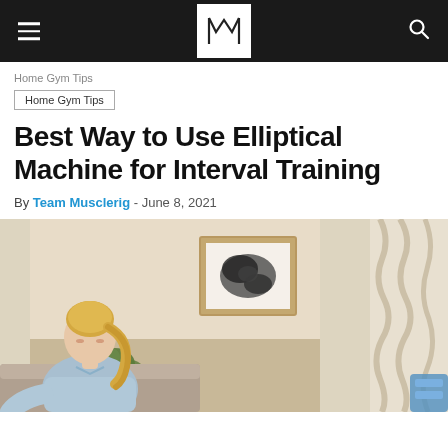MuscleRig – navigation header with logo
Home Gym Tips
Home Gym Tips
Best Way to Use Elliptical Machine for Interval Training
By Team Musclerig - June 8, 2021
[Figure (photo): A blonde woman with a ponytail sitting on a couch or chair, wearing a light blue shirt, looking down. Background shows a warm beige room with curtains, a framed abstract artwork on the wall, and a potted plant.]